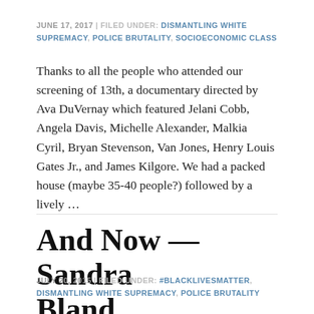JUNE 17, 2017 | FILED UNDER: DISMANTLING WHITE SUPREMACY, POLICE BRUTALITY, SOCIOECONOMIC CLASS
Thanks to all the people who attended our screening of 13th, a documentary directed by Ava DuVernay which featured Jelani Cobb, Angela Davis, Michelle Alexander, Malkia Cyril, Bryan Stevenson, Van Jones, Henry Louis Gates Jr., and James Kilgore. We had a packed house (maybe 35-40 people?) followed by a lively …
And Now — Sandra Bland
JULY 20, 2015 | FILED UNDER: #BLACKLIVESMATTER, DISMANTLING WHITE SUPREMACY, POLICE BRUTALITY